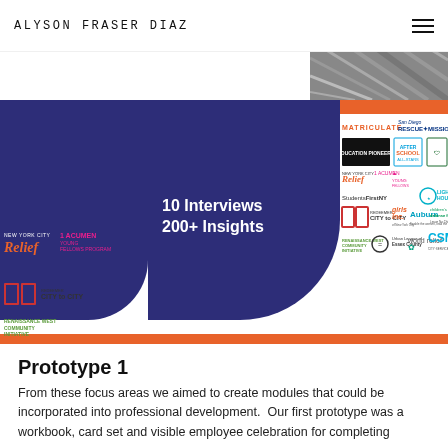ALYSON FRASER DIAZ
[Figure (infographic): A collage of nonprofit organization logos including Matriculate, San Diego Rescue Mission, Education Pioneers, Afterschool All-Stars, NYC Relief, Acumen, StudentsFirstNY, Lighthouse, Redeemer City to City, Girls Inc., Auburn, Children's Defense Fund, Renaissance West Community Initiative, Urban League of Essex County, World Relief, CSM City Service Mission, with a dark blue circle showing '10 Interviews 200+ Insights' and orange accent bars.]
Prototype 1
From these focus areas we aimed to create modules that could be incorporated into professional development.  Our first prototype was a workbook, card set and visible employee celebration for completing